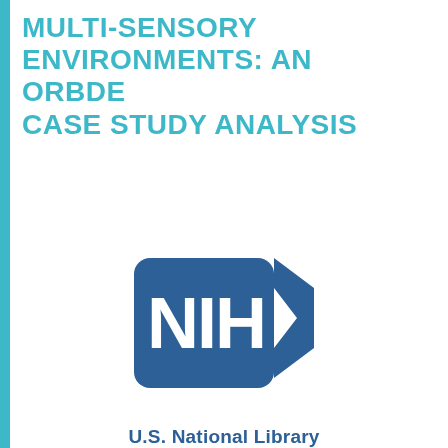MULTI-SENSORY ENVIRONMENTS: AN ORBDE CASE STUDY ANALYSIS
[Figure (logo): NIH (National Institutes of Health) logo: a blue pentagon/arrow shape containing the letters NIH in white, with a chevron arrow on the right side]
U.S. National Library